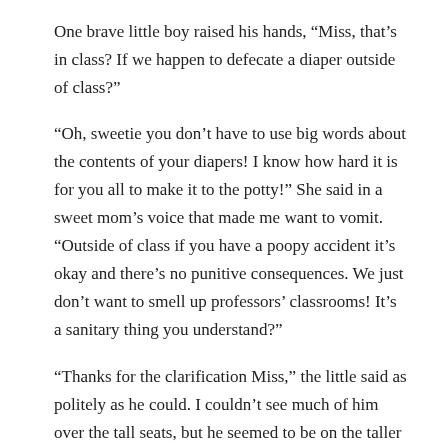One brave little boy raised his hands, “Miss, that’s in class? If we happen to defecate a diaper outside of class?”
“Oh, sweetie you don’t have to use big words about the contents of your diapers! I know how hard it is for you all to make it to the potty!” She said in a sweet mom’s voice that made me want to vomit. “Outside of class if you have a poopy accident it’s okay and there’s no punitive consequences. We just don’t want to smell up professors’ classrooms! It’s a sanitary thing you understand?”
“Thanks for the clarification Miss,” the little said as politely as he could. I couldn’t see much of him over the tall seats, but he seemed to be on the taller side for a little. ‘Probably just put a big target on his back…’ I thought to myself.
The next slide that popped up said ‘Adoption – When Can